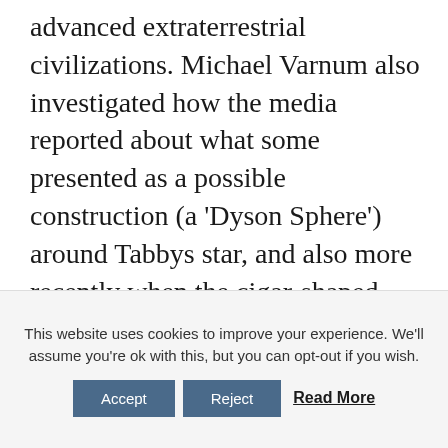advanced extraterrestrial civilizations. Michael Varnum also investigated how the media reported about what some presented as a possible construction (a 'Dyson Sphere') around Tabbys star, and also more recently when the cigar-shaped Oumuamua asteroid from another solar system passed through our solar system, and some speculated whether it was a spaceship.
“The reports were consistently positive. So if media reports…
This website uses cookies to improve your experience. We'll assume you're ok with this, but you can opt-out if you wish. Accept Reject Read More